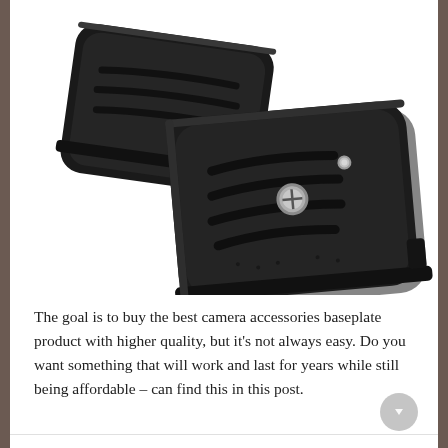[Figure (photo): Product photo showing two black camera tripod quick-release baseplates. The upper baseplate is shown face-down, the lower one is shown face-up with a visible central mounting screw and a smaller alignment pin, both with textured grip grooves on a white background.]
The goal is to buy the best camera accessories baseplate product with higher quality, but it’s not always easy. Do you want something that will work and last for years while still being affordable – can find this in this post.